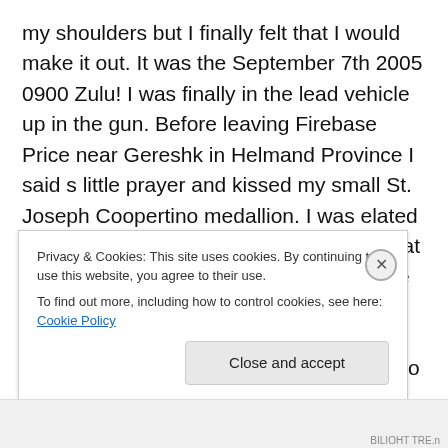my shoulders but I finally felt that I would make it out. It was the September 7th 2005 0900 Zulu! I was finally in the lead vehicle up in the gun. Before leaving Firebase Price near Gereshk in Helmand Province I said s little prayer and kissed my small St. Joseph Coopertino medallion. I was elated for being the first vehicle; which meant that there would be no dust to choke on as we ripped through the desert.
We rallied out to hwy one and jumped onto the hard ball/pavement. I felt good. As we entered the market area of Gereshk we slowed down to avoid the bustling street. I
Privacy & Cookies: This site uses cookies. By continuing to use this website, you agree to their use.
To find out more, including how to control cookies, see here: Cookie Policy